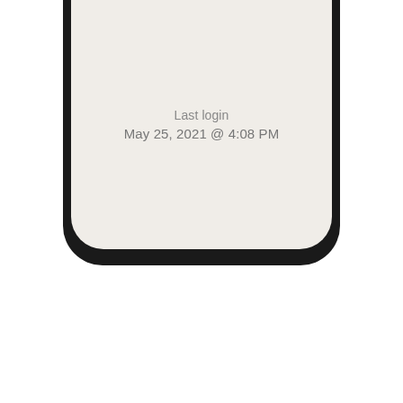[Figure (screenshot): Bottom portion of a smartphone screen with rounded corners and thick black bezel. The screen background is light beige/off-white. Centered on the screen is text reading 'Last login' on one line and 'May 25, 2021 @ 4:08 PM' on the next line, both in gray. The bottom half of the page below the phone is white.]
Last login
May 25, 2021 @ 4:08 PM